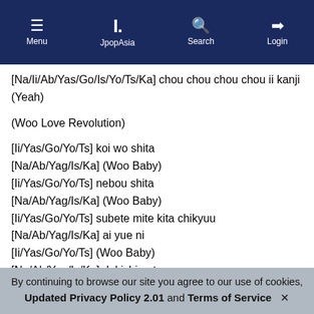Menu | JpopAsia | Search | Login
[Na/Ii/Ab/Yas/Go/Is/Yo/Ts/Ka] chou chou chou chou ii kanji
(Yeah)

(Woo Love Revolution)

[Ii/Yas/Go/Yo/Ts] koi wo shita
[Na/Ab/Yag/Is/Ka] (Woo Baby)
[Ii/Yas/Go/Yo/Ts] nebou shita
[Na/Ab/Yag/Is/Ka] (Woo Baby)
[Ii/Yas/Go/Yo/Ts] subete mite kita chikyuu
[Na/Ab/Yag/Is/Ka] ai yue ni
[Ii/Yas/Go/Yo/Ts] (Woo Baby)
[Na/Ab/Yag/Is/Ka] dakishimeta
[Ii/Yas/Go/Yo/Ts] (Woo Baby)
LOVE REVOLUTION 21

kono hoshi wa
utsukushii
By continuing to browse our site you agree to our use of cookies, Updated Privacy Policy 2.01 and Terms of Service ✕